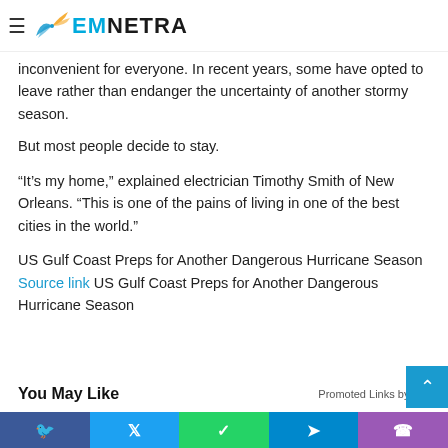EMNETRA (logo/navigation bar)
inconvenient for everyone. In recent years, some have opted to leave rather than endanger the uncertainty of another stormy season.
But most people decide to stay.
“It’s my home,” explained electrician Timothy Smith of New Orleans. “This is one of the pains of living in one of the best cities in the world.”
US Gulf Coast Preps for Another Dangerous Hurricane Season Source link US Gulf Coast Preps for Another Dangerous Hurricane Season
You May Like
Promoted Links by Tab
Facebook | Twitter | WhatsApp | Telegram | Phone